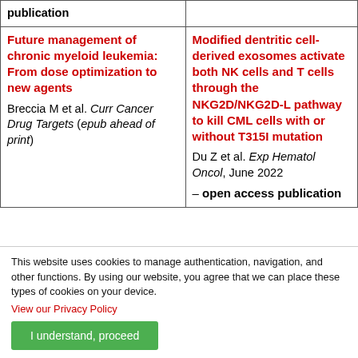| publication |  |
| --- | --- |
| Future management of chronic myeloid leukemia: From dose optimization to new agents
Breccia M et al. Curr Cancer Drug Targets (epub ahead of print) | Modified dentritic cell-derived exosomes activate both NK cells and T cells through the NKG2D/NKG2D-L pathway to kill CML cells with or without T315I mutation
Du Z et al. Exp Hematol Oncol, June 2022 – open access publication |
This website uses cookies to manage authentication, navigation, and other functions. By using our website, you agree that we can place these types of cookies on your device.
View our Privacy Policy